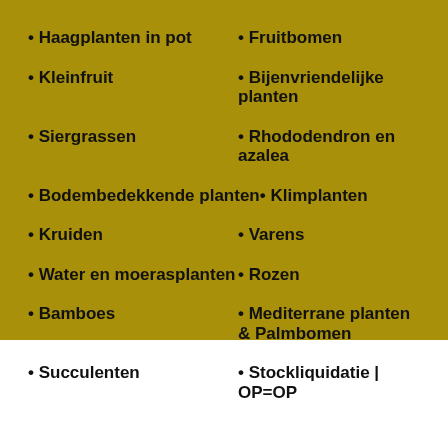• Haagplanten in pot
• Fruitbomen
• Kleinfruit
• Bijenvriendelijke planten
• Siergrassen
• Rhododendron en azalea
• Bodembedekkende planten
• Klimplanten
• Kruiden
• Varens
• Water en moerasplanten
• Rozen
• Bamboes
• Mediterrane planten & Palmbomen
• Succulenten
• Stockliquidatie | OP=OP